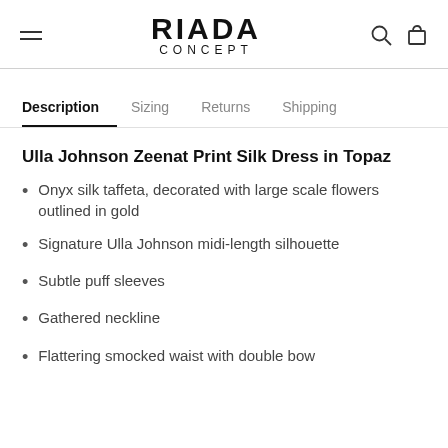RIADA CONCEPT
Description  Sizing  Returns  Shipping
Ulla Johnson Zeenat Print Silk Dress in Topaz
Onyx silk taffeta, decorated with large scale flowers outlined in gold
Signature Ulla Johnson midi-length silhouette
Subtle puff sleeves
Gathered neckline
Flattering smocked waist with double bow